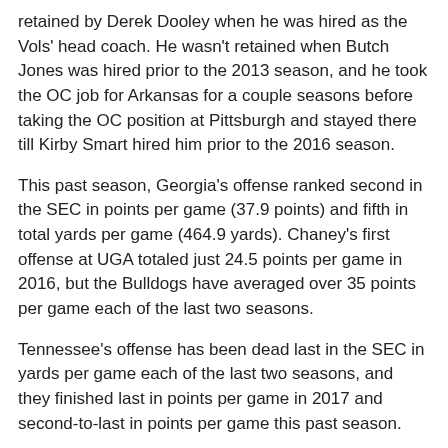retained by Derek Dooley when he was hired as the Vols' head coach. He wasn't retained when Butch Jones was hired prior to the 2013 season, and he took the OC job for Arkansas for a couple seasons before taking the OC position at Pittsburgh and stayed there till Kirby Smart hired him prior to the 2016 season.
This past season, Georgia's offense ranked second in the SEC in points per game (37.9 points) and fifth in total yards per game (464.9 yards). Chaney's first offense at UGA totaled just 24.5 points per game in 2016, but the Bulldogs have averaged over 35 points per game each of the last two seasons.
Tennessee's offense has been dead last in the SEC in yards per game each of the last two seasons, and they finished last in points per game in 2017 and second-to-last in points per game this past season.
The 57-year-old coach was the play-caller for one of the most prolific offenses in Tennessee history in 2012. He helped lead a Tyler Bray, Cordarrelle Patterson, Justin Hunter, and Mychal Rivera-led offense to 36.2 points per game and 475.9 yards per contest. He's coached the likes of Drew Brees, Brandon Allen, and Jake Fromm at quarterback in the collection of the second